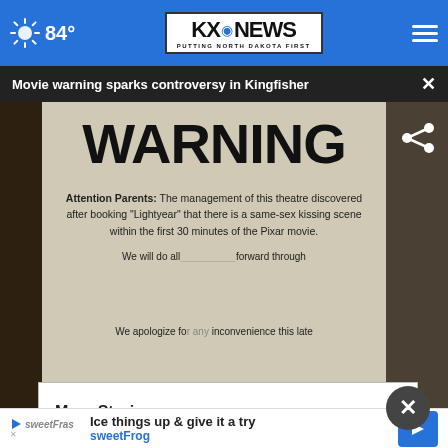84° KX NEWS PUTTING NORTH DAKOTA FIRST
Movie warning sparks controversy in Kingfisher
[Figure (photo): A WARNING sign posted in a movie theater lobby. The sign reads: 'Attention Parents: The management of this theatre discovered after booking "Lightyear" that there is a same-sex kissing scene within the first 30 minutes of the Pixar movie. We will do all... forward through... We apologize for any inconvenience this late...' A lower-third news banner reads 'THEATER SIGN CAUSING CONTROVERSY' with Oklahoma's News 4 logo.]
More Stories ▶
Ice things up & give it a try
sweetFrog